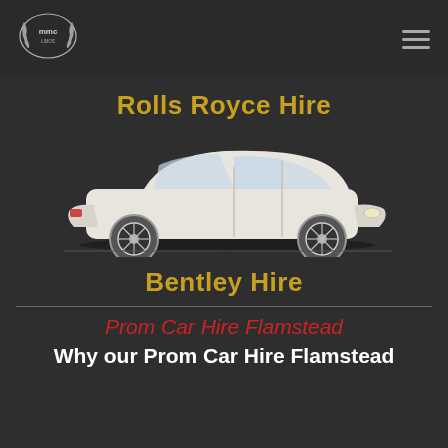MMC Limos logo and navigation menu
Rolls Royce Hire
[Figure (photo): White Bentley/Rolls Royce luxury sedan car shown from the side profile on a dark background]
Bentley Hire
Prom Car Hire Flamstead
Why our Prom Car Hire Flamstead